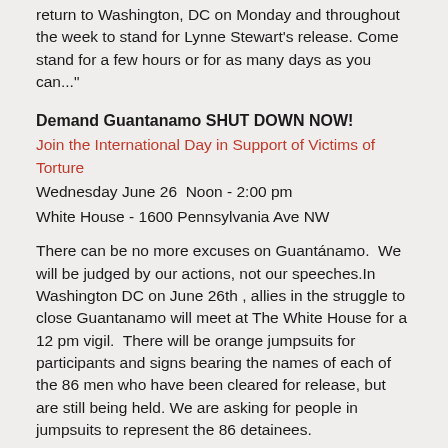return to Washington, DC on Monday and throughout the week to stand for Lynne Stewart's release. Come stand for a few hours or for as many days as you can..."
Demand Guantanamo SHUT DOWN NOW!
Join the International Day in Support of Victims of Torture
Wednesday June 26  Noon - 2:00 pm
White House - 1600 Pennsylvania Ave NW
There can be no more excuses on Guantánamo.  We will be judged by our actions, not our speeches.In Washington DC on June 26th , allies in the struggle to close Guantanamo will meet at The White House for a 12 pm vigil.  There will be orange jumpsuits for participants and signs bearing the names of each of the 86 men who have been cleared for release, but are still being held. We are asking for people in jumpsuits to represent the 86 detainees.
There will also be opportunities to participate in nonviolent resistance led by solidarity hunger strikers.  Please contact witnesstorture@gmail.com if you are considering participating in nonviolent resistance on June 26. We will meet at 9am the morning of June 26th  at St. Stephens to make final plans for the day's scenario(s). St. Stephen's: 1525 Newton St NW -  Corner of 16th and Newton Streets Washington DC  20010. Opportunity to take a bus